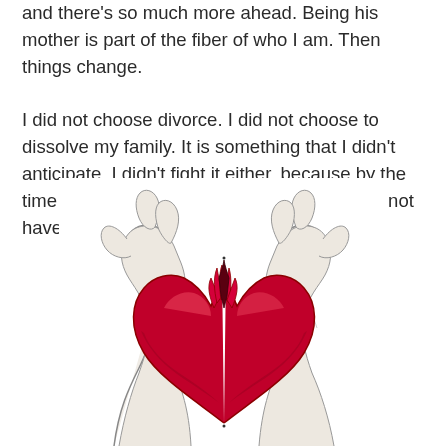and there's so much more ahead. Being his mother is part of the fiber of who I am. Then things change.

I did not choose divorce. I did not choose to dissolve my family. It is something that I didn't anticipate. I didn't fight it either, because by the time it happened it was overdue, but I would not have set those wheels in motion.
[Figure (illustration): A pencil and color illustration of two hands pulling apart a red anatomical heart, tearing it in two, symbolizing heartbreak.]